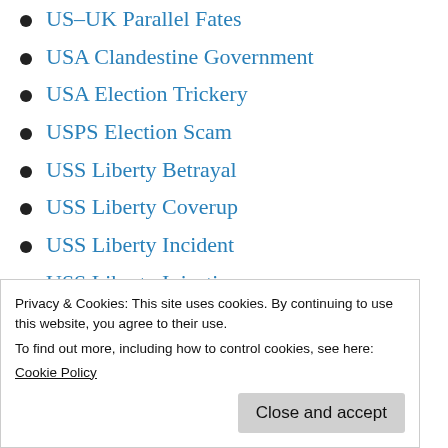US–UK Parallel Fates
USA Clandestine Government
USA Election Trickery
USPS Election Scam
USS Liberty Betrayal
USS Liberty Coverup
USS Liberty Incident
USS Liberty Injustice
Venal American Politicians
Venezuela Regime Change
Venezuela Resists Assault
Privacy & Cookies: This site uses cookies. By continuing to use this website, you agree to their use.
To find out more, including how to control cookies, see here:
Cookie Policy
Vietnam War Lies